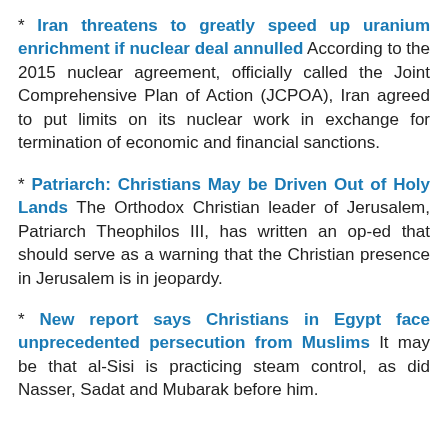* Iran threatens to greatly speed up uranium enrichment if nuclear deal annulled According to the 2015 nuclear agreement, officially called the Joint Comprehensive Plan of Action (JCPOA), Iran agreed to put limits on its nuclear work in exchange for termination of economic and financial sanctions.
* Patriarch: Christians May be Driven Out of Holy Lands The Orthodox Christian leader of Jerusalem, Patriarch Theophilos III, has written an op-ed that should serve as a warning that the Christian presence in Jerusalem is in jeopardy.
* New report says Christians in Egypt face unprecedented persecution from Muslims It may be that al-Sisi is practicing steam control, as did Nasser, Sadat and Mubarak before him.